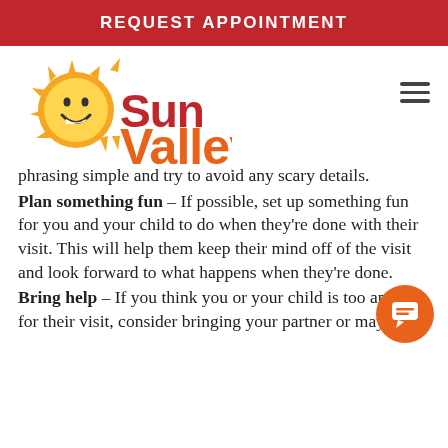REQUEST APPOINTMENT
[Figure (logo): Sun Valley Pediatric Dentistry logo with sun and smiley face]
phrasing simple and try to avoid any scary details.
Plan something fun – If possible, set up something fun for you and your child to do when they're done with their visit. This will help them keep their mind off of the visit and look forward to what happens when they're done.
Bring help – If you think you or your child is too anxious for their visit, consider bringing your partner or maybe